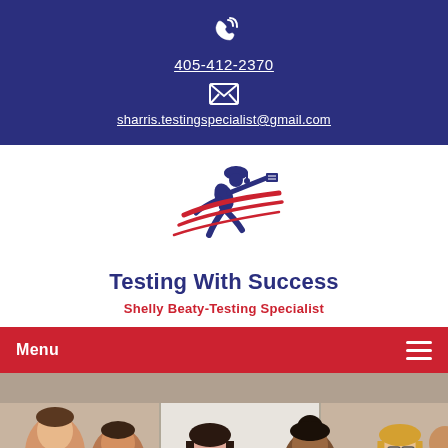405-412-2370
sharris.testingspecialist@gmail.com
[Figure (logo): Testing With Success logo: running graduate figure with diploma and graduation cap, dark blue and red swoosh lines]
Testing With Success
Shelly Beaty-Testing Specialist
Menu
[Figure (photo): Group of diverse teenagers sitting together in a classroom, smiling and interacting, with a whiteboard in the background]